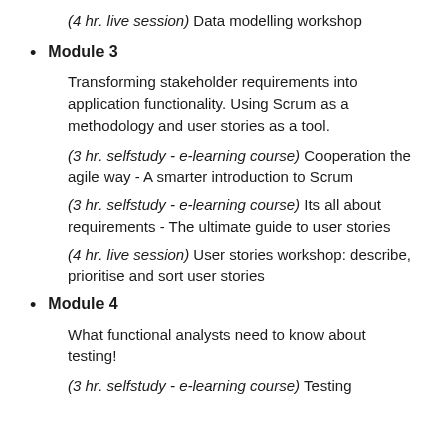(4 hr. live session) Data modelling workshop
Module 3
Transforming stakeholder requirements into application functionality. Using Scrum as a methodology and user stories as a tool.
(3 hr. selfstudy - e-learning course) Cooperation the agile way - A smarter introduction to Scrum
(3 hr. selfstudy - e-learning course) Its all about requirements - The ultimate guide to user stories
(4 hr. live session) User stories workshop: describe, prioritise and sort user stories
Module 4
What functional analysts need to know about testing!
(3 hr. selfstudy - e-learning course) Testing